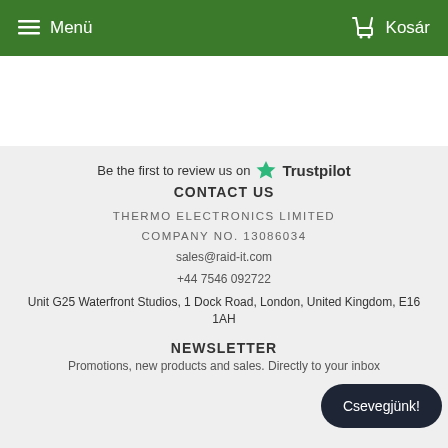Menü  Kosár
Be the first to review us on ★ Trustpilot
CONTACT US
THERMO ELECTRONICS LIMITED
COMPANY NO. 13086034
sales@raid-it.com
+44 7546 092722
Unit G25 Waterfront Studios, 1 Dock Road, London, United Kingdom, E16 1AH
NEWSLETTER
Promotions, new products and sales. Directly to your inbox